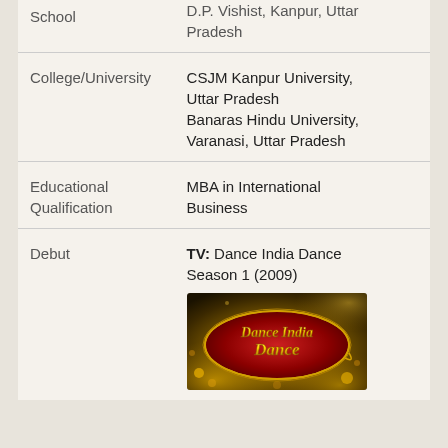| Field | Value |
| --- | --- |
| School | D.P. Vishist, Kanpur, Uttar Pradesh |
| College/University | CSJM Kanpur University, Uttar Pradesh
Banaras Hindu University, Varanasi, Uttar Pradesh |
| Educational Qualification | MBA in International Business |
| Debut | TV: Dance India Dance Season 1 (2009)
[image] |
[Figure (photo): Dance India Dance TV show logo/poster with gold and red design on dark background]